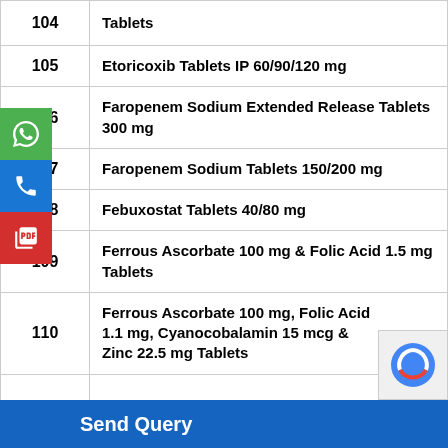| No. | Product Name |
| --- | --- |
| 104 | Tablets |
| 105 | Etoricoxib Tablets IP 60/90/120 mg |
| 106 | Faropenem Sodium Extended Release Tablets 300 mg |
| 107 | Faropenem Sodium Tablets 150/200 mg |
| 108 | Febuxostat Tablets 40/80 mg |
| 109 | Ferrous Ascorbate 100 mg & Folic Acid 1.5 mg Tablets |
| 110 | Ferrous Ascorbate 100 mg, Folic Acid 1.1 mg, Cyanocobalamin 15 mcg & Zinc 22.5 mg Tablets |
| 111 |  |
Send Query